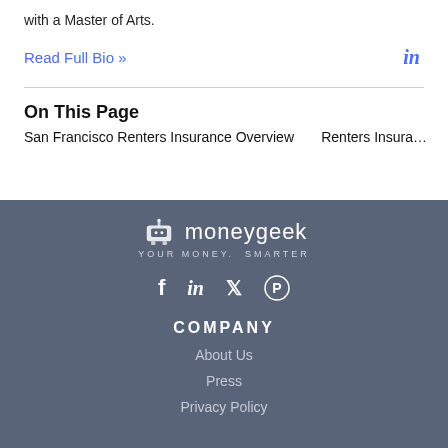with a Master of Arts.
Read Full Bio »
On This Page
San Francisco Renters Insurance Overview    Renters Insura…
[Figure (logo): MoneyGeek logo with robot/piggy icon and tagline YOUR MONEY. SMARTER on dark blue-grey footer background]
COMPANY
About Us
Press
Privacy Policy